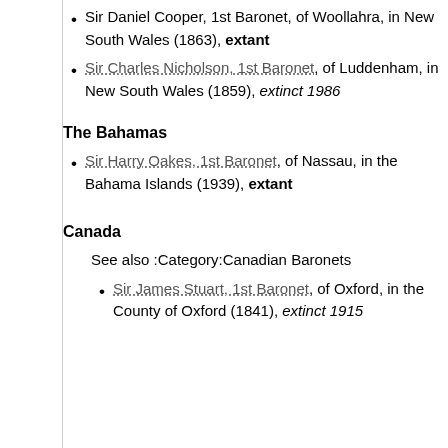Sir Daniel Cooper, 1st Baronet, of Woollahra, in New South Wales (1863), extant
Sir Charles Nicholson, 1st Baronet, of Luddenham, in New South Wales (1859), extinct 1986
The Bahamas
Sir Harry Oakes, 1st Baronet, of Nassau, in the Bahama Islands (1939), extant
Canada
See also :Category:Canadian Baronets
Sir James Stuart, 1st Baronet, of Oxford, in the County of Oxford (1841), extinct 1915